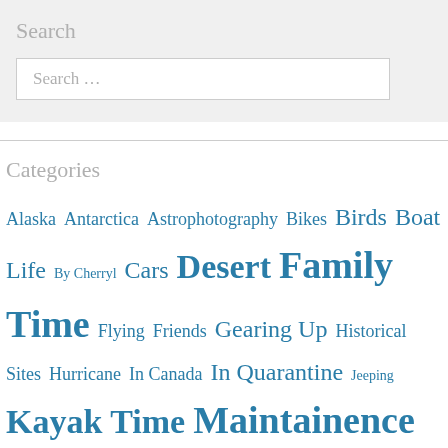Search
Search ...
Categories
Alaska Antarctica Astrophotography Bikes Birds Boat Life By Cherryl Cars Desert Family Time Flying Friends Gearing Up Historical Sites Hurricane In Canada In Quarantine Jeeping Kayak Time Maintainence Maranatha Misc Ramblings